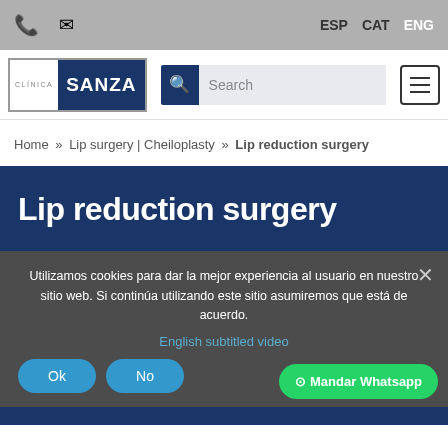Phone | Email | ESP CAT ENG
[Figure (logo): Clínica Sanza logo with search bar and menu button]
Home » Lip surgery | Cheiloplasty » Lip reduction surgery
Lip reduction surgery
Utilizamos cookies para dar la mejor experiencia al usuario en nuestro sitio web. Si continúa utilizando este sitio asumiremos que está de acuerdo.
English subtitled video
Ok | No | Mandar Whatsapp